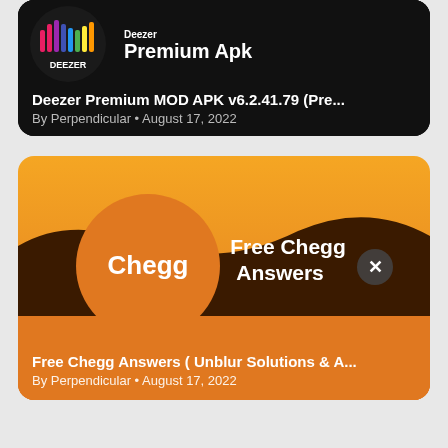[Figure (screenshot): Deezer Premium Apk card with dark background, Deezer logo circle on left, 'Deezer Premium Apk' text on right in white bold]
Deezer Premium MOD APK v6.2.41.79 (Pre...
By Perpendicular • August 17, 2022
[Figure (screenshot): Free Chegg Answers card with orange gradient background, Chegg logo circle on left, 'Free Chegg Answers' text with X button on right]
Free Chegg Answers ( Unblur Solutions & A...
By Perpendicular • August 17, 2022